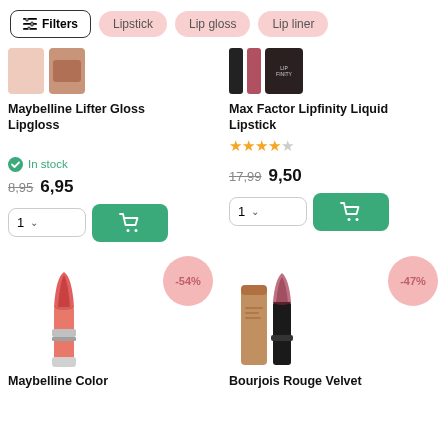Filters | Lipstick | Lip gloss | Lip liner
[Figure (photo): Maybelline Lifter Gloss product thumbnail images — pink swatch and jar]
Maybelline Lifter Gloss Lipgloss
In stock
8,95  6,95
[Figure (photo): Max Factor Lipfinity Liquid Lipstick product thumbnails — black tube, pink shade, box]
Max Factor Lipfinity Liquid Lipstick
4 out of 5 stars rating
17,99  9,50
[Figure (photo): Maybelline Color lipstick product image with -54% discount badge]
Maybelline Color
[Figure (photo): Bourjois Rouge Velvet lipstick product image with -47% discount badge]
Bourjois Rouge Velvet